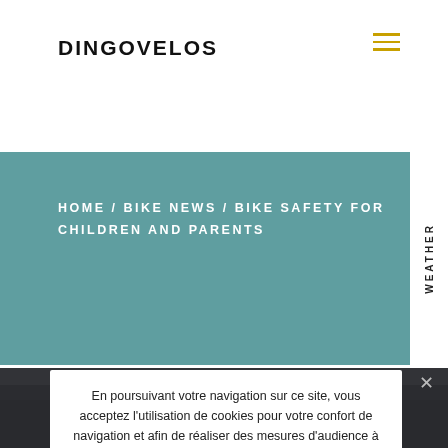DINGOVELOS
[Figure (other): Hamburger menu icon with three gold/yellow horizontal lines]
HOME / BIKE NEWS / BIKE SAFETY FOR CHILDREN AND PARENTS
WEATHER
[Figure (other): Orange loading spinner dot indicator]
En poursuivant votre navigation sur ce site, vous acceptez l'utilisation de cookies pour votre confort de navigation et afin de réaliser des mesures d'audience à des fins statistiques et/ou de publicité
Ok